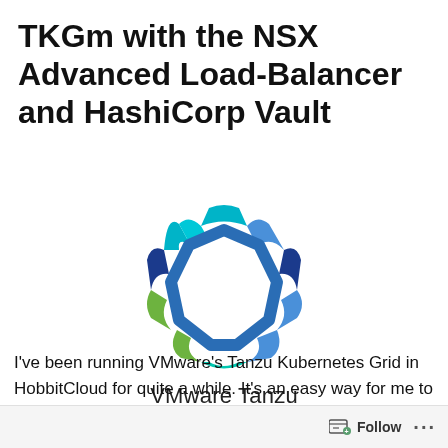TKGm with the NSX Advanced Load-Balancer and HashiCorp Vault
[Figure (logo): VMware Tanzu logo — a heptagonal geometric shape formed by interlocking curved segments in dark blue, medium blue, cyan/teal, and green colors, with the text 'VMware Tanzu' below]
I've been running VMware's Tanzu Kubernetes Grid in HobbitCloud for quite a while. It's an easy way for me to consume Kubernetes, which I use for demonstrating
Follow ···